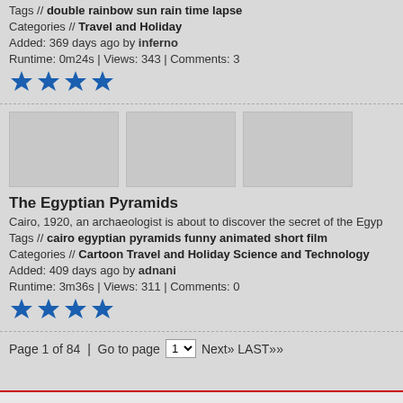Tags // double rainbow sun rain time lapse
Categories // Travel and Holiday
Added: 369 days ago by inferno
Runtime: 0m24s | Views: 343 | Comments: 3
[Figure (other): Three video thumbnails (gray placeholder rectangles)]
The Egyptian Pyramids
Cairo, 1920, an archaeologist is about to discover the secret of the Egyp…
Tags // cairo egyptian pyramids funny animated short film
Categories // Cartoon Travel and Holiday Science and Technology
Added: 409 days ago by adnani
Runtime: 3m36s | Views: 311 | Comments: 0
Page 1 of 84 | Go to page 1 Next» LAST»»
About Us | Help | Advertise on ClipMoon | Terms of Use |
Copyright © 2007-2022 ClipMoon